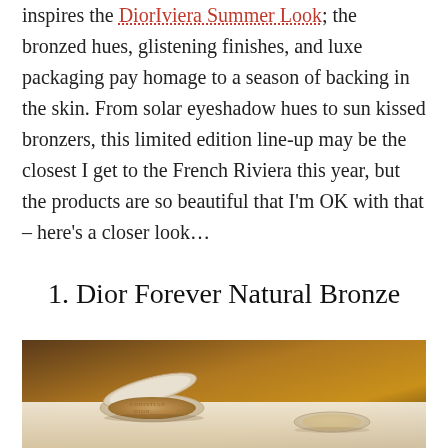inspires the DiorIviera Summer Look; the bronzed hues, glistening finishes, and luxe packaging pay homage to a season of backing in the skin. From solar eyeshadow hues to sun kissed bronzers, this limited edition line-up may be the closest I get to the French Riviera this year, but the products are so beautiful that I'm OK with that – here's a closer look…
1. Dior Forever Natural Bronze
[Figure (photo): Photo of Dior bronzer compact open showing embossed Christian Dior lettering on the powder, with a second product partially visible, set against a warm golden-brown background.]